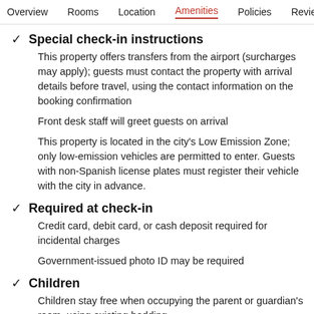Overview  Rooms  Location  Amenities  Policies  Reviews
Special check-in instructions
This property offers transfers from the airport (surcharges may apply); guests must contact the property with arrival details before travel, using the contact information on the booking confirmation
Front desk staff will greet guests on arrival
This property is located in the city's Low Emission Zone; only low-emission vehicles are permitted to enter. Guests with non-Spanish license plates must register their vehicle with the city in advance.
Required at check-in
Credit card, debit card, or cash deposit required for incidental charges
Government-issued photo ID may be required
Children
Children stay free when occupying the parent or guardian's room, using existing bedding